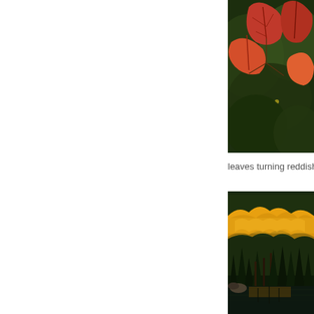[Figure (photo): Close-up photo of reddish-orange autumn leaves against a dark green background, partially cropped on the right side of the page.]
leaves turning reddish o
[Figure (photo): Landscape photo of a mountain lake scene with tall evergreen pine trees and bright yellow-orange autumn foliage running along a hillside, with dark water in the foreground reflecting the trees.]